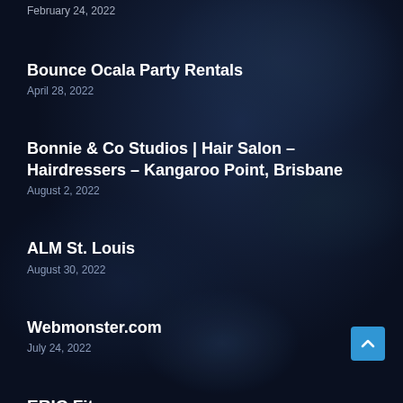February 24, 2022
Bounce Ocala Party Rentals
April 28, 2022
Bonnie & Co Studios | Hair Salon – Hairdressers – Kangaroo Point, Brisbane
August 2, 2022
ALM St. Louis
August 30, 2022
Webmonster.com
July 24, 2022
ERIC Fitness